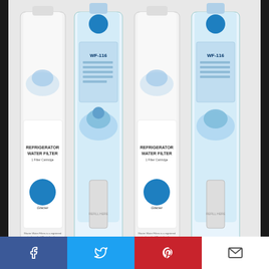[Figure (photo): Four refrigerator water filter products displayed side by side: two Glacier-branded 'Refrigerator Water Filter' units and two WF-116 branded blue water filter units, on a light grey background.]
CHECK PRICE
Feature
Replacement LG ADQ73613401 Refrigerator Water Filter
Facebook  Twitter  Pinterest  Email